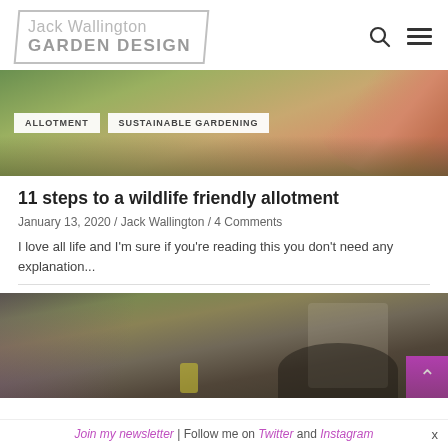[Figure (logo): Jack Wallington Garden Design logo in a skewed rectangular border with gray text]
[Figure (photo): Hero banner image showing a close-up of a hand/fingers against a green background, with two white tag buttons: ALLOTMENT and SUSTAINABLE GARDENING]
11 steps to a wildlife friendly allotment
January 13, 2020 / Jack Wallington / 4 Comments
I love all life and I'm sure if you're reading this you don't need any explanation...
[Figure (photo): Landscape photo showing heathland with purple heather, yellow flowers, gravel path, and dark rocky soil. A magenta/purple button with an up arrow is visible in the bottom right.]
Join my newsletter | Follow me on Twitter and Instagram